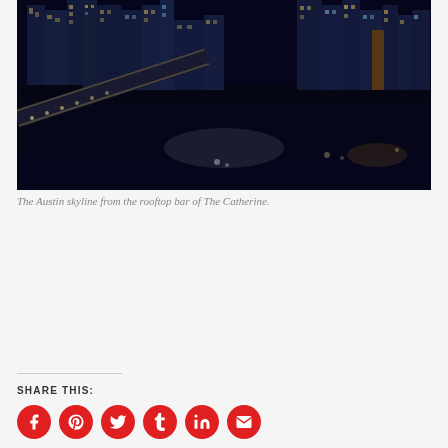[Figure (photo): Night aerial photo of the Austin city skyline with illuminated skyscrapers reflected in the river below, with a bridge and roads visible.]
The Austin skyline from the rooftop bar of The Catherine.
SHARE THIS: